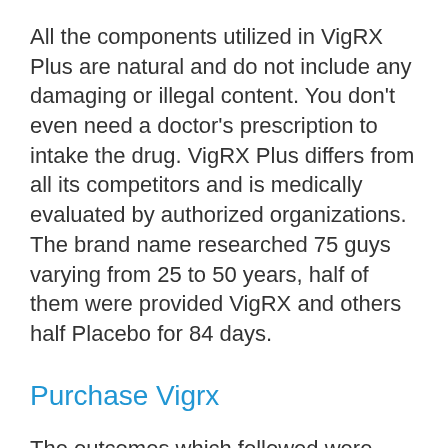All the components utilized in VigRX Plus are natural and do not include any damaging or illegal content. You don't even need a doctor's prescription to intake the drug. VigRX Plus differs from all its competitors and is medically evaluated by authorized organizations. The brand name researched 75 guys varying from 25 to 50 years, half of them were provided VigRX and others half Placebo for 84 days.
Purchase Vigrx
The outcomes which followed were astounding. The drug increased the libido by 61% and over 71% of guys felt sexual complete satisfaction. Most of the brand names claim to provide high end results